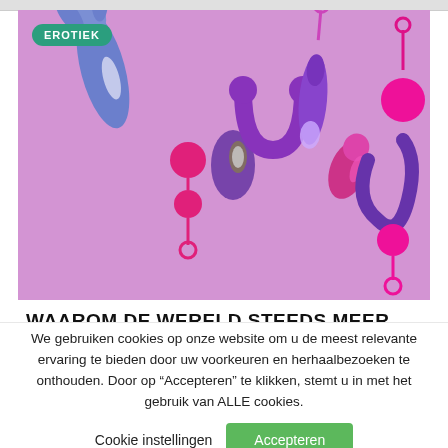[Figure (photo): Product photo of several adult sex toys (vibrators, kegel balls, massagers) arranged on a light purple/lavender background. A green badge reading 'EROTIEK' appears in the top-left corner of the image.]
WAAROM DE WERELD STEEDS MEER
We gebruiken cookies op onze website om u de meest relevante ervaring te bieden door uw voorkeuren en herhaalbezoeken te onthouden. Door op “Accepteren„ te klikken, stemt u in met het gebruik van ALLE cookies.
Cookie instellingen   Accepteren